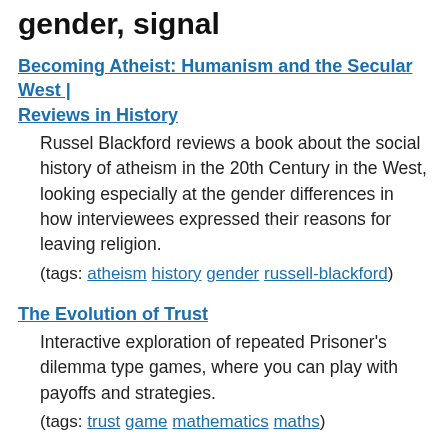gender, signal
Becoming Atheist: Humanism and the Secular West | Reviews in History
Russel Blackford reviews a book about the social history of atheism in the 20th Century in the West, looking especially at the gender differences in how interviewees expressed their reasons for leaving religion.
(tags: atheism history gender russell-blackford)
The Evolution of Trust
Interactive exploration of repeated Prisoner's dilemma type games, where you can play with payoffs and strategies.
(tags: trust game mathematics maths)
Broadpwn: Remotely Compromising Android and iOS via a Bug in Broadcom's Wi-Fi Chipsets | Exodus Intelligence